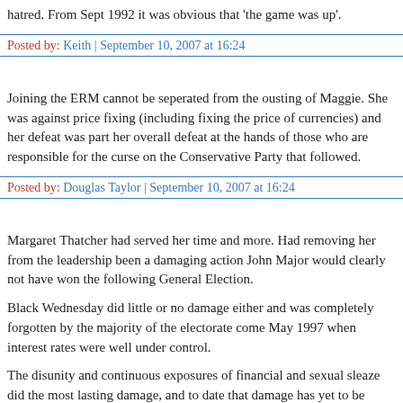hatred. From Sept 1992 it was obvious that 'the game was up'.
Posted by: Keith | September 10, 2007 at 16:24
Joining the ERM cannot be seperated from the ousting of Maggie. She was against price fixing (including fixing the price of currencies) and her defeat was part her overall defeat at the hands of those who are responsible for the curse on the Conservative Party that followed.
Posted by: Douglas Taylor | September 10, 2007 at 16:24
Margaret Thatcher had served her time and more. Had removing her from the leadership been a damaging action John Major would clearly not have won the following General Election.
Black Wednesday did little or no damage either and was completely forgotten by the majority of the electorate come May 1997 when interest rates were well under control.
The disunity and continuous exposures of financial and sexual sleaze did the most lasting damage, and to date that damage has yet to be effectively repaired.
Posted by: Michael Sloyan | September 10, 2007 at 16:25